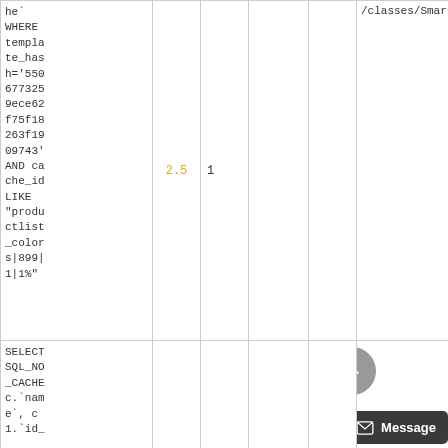| Query | Time | Calls |  |  | File |
| --- | --- | --- | --- | --- | --- |
| he`
WHERE
template_hash='5506773259ece62f75f18263f1909743'
AND cache_id LIKE "productlist_colors|899|1|1%" | 2.5 | 1 |  |  | /classes/SmartyCustom.p |
| SELECT SQL_NO_CACHE c.`name`, c1.`id_ |  |  |  |  |  |